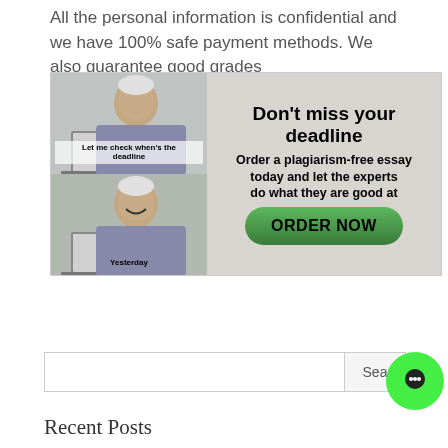All the personal information is confidential and we have 100% safe payment methods. We also guarantee good grades
[Figure (infographic): Ad banner with 'Hide the Pain Harold' meme on the left showing two panels (top: person at laptop labeled 'Let me check when's the deadline', bottom: person smiling labeled 'Yesterday') and right side with text 'Don't miss your deadline. Order a plagiarism-free essay today and let the experts do what they are good at' and a green ORDER NOW button]
Sea
Recent Posts